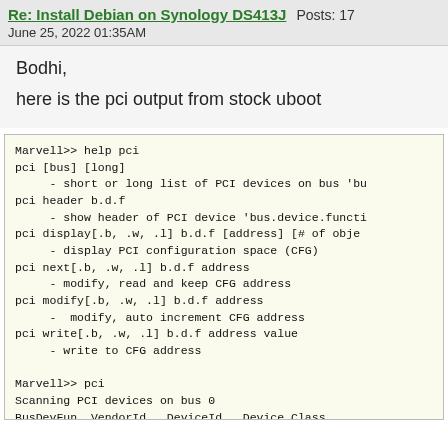Re: Install Debian on Synology DS413J  Posts: 17
June 25, 2022 01:35AM
Bodhi,
here is the pci output from stock uboot
[Figure (screenshot): Terminal output showing uboot PCI help and scan results including Marvell>> help pci, pci commands listing, Marvell>> pci, Scanning PCI devices on bus 0, BusDevFun VendorId DeviceId Device Class table with entries 00.00.00 0x11ab 0x6282 Memory controller and 00.01.00 0x11ab 0x7042 Mass storage cont]